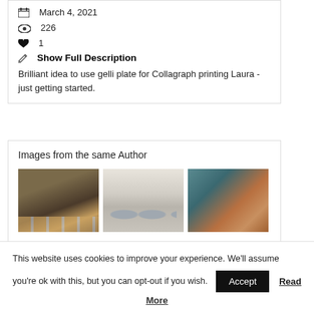March 4, 2021
226
1
Show Full Description
Brilliant idea to use gelli plate for Collagraph printing Laura - just getting started.
Images from the same Author
[Figure (photo): Three thumbnail images from the same author showing artistic prints]
This website uses cookies to improve your experience. We'll assume you're ok with this, but you can opt-out if you wish.
Accept
Read More